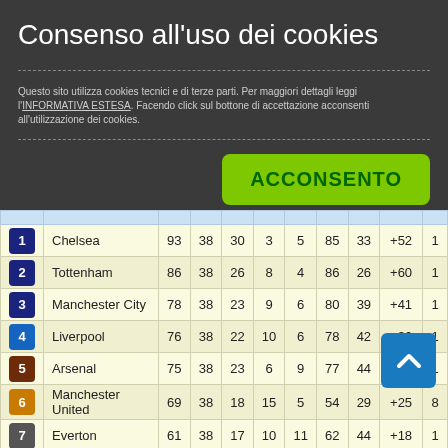Consenso all'uso dei cookies
Questo sito utilizza cookies tecnici e di terze parti. Per maggiori dettagli leggi l'INFORMATIVA ESTESA. Facendo click sul bottone di accettazione acconsenti all'utilizzazione dei cookies.
| # | Team | Pts | G | W | D | L | GF | GA | GD | ... |
| --- | --- | --- | --- | --- | --- | --- | --- | --- | --- | --- |
| 1 | Chelsea | 93 | 38 | 30 | 3 | 5 | 85 | 33 | +52 | 1 |
| 2 | Tottenham | 86 | 38 | 26 | 8 | 4 | 86 | 26 | +60 | 1 |
| 3 | Manchester City | 78 | 38 | 23 | 9 | 6 | 80 | 39 | +41 | 1 |
| 4 | Liverpool | 76 | 38 | 22 | 10 | 6 | 78 | 42 | +36 | 1 |
| 5 | Arsenal | 75 | 38 | 23 | 6 | 9 | 77 | 44 | +33 | 1 |
| 6 | Manchester United | 69 | 38 | 18 | 15 | 5 | 54 | 29 | +25 | 8 |
| 7 | Everton | 61 | 38 | 17 | 10 | 11 | 62 | 44 | +18 | 1 |
| 8 | Southampton | 46 | 38 | 12 | 10 | 16 | 41 | 48 | -7 | 6 |
| 9 | Bournemouth | 46 | 38 | 12 | 10 | 16 | 55 | 67 | ... | 9 |
| 10 | West Bromwich | 45 | 38 | 12 | 9 | 17 | 43 | 51 | ... | 9 |
| 11 | West Ham | 45 | 38 | 12 | 9 | 17 | 47 | 64 | -17 | 7 |